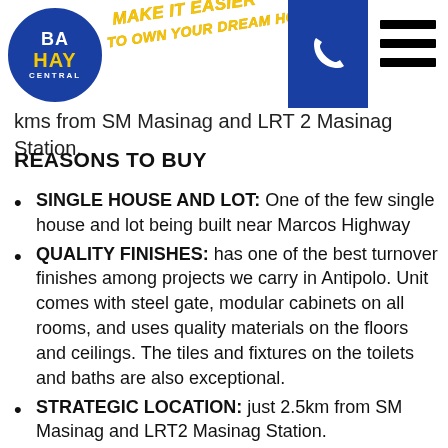BAHAY CENTRAL — MAKE IT EASIER TO OWN YOUR DREAM HOME!
kms from SM Masinag and LRT 2 Masinag Station.
REASONS TO BUY
SINGLE HOUSE AND LOT: One of the few single house and lot being built near Marcos Highway
QUALITY FINISHES: has one of the best turnover finishes among projects we carry in Antipolo. Unit comes with steel gate, modular cabinets on all rooms, and uses quality materials on the floors and ceilings. The tiles and fixtures on the toilets and baths are also exceptional.
STRATEGIC LOCATION: just 2.5km from SM Masinag and LRT2 Masinag Station.
FEW UNITS ONLY: 3 Single units available